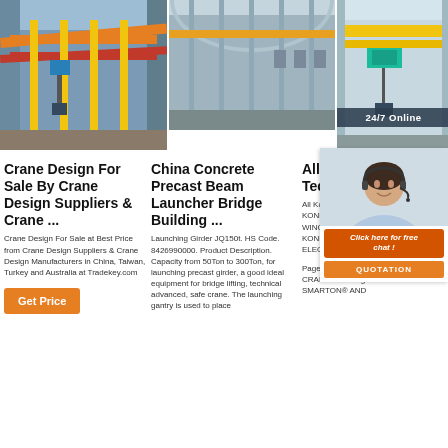[Figure (photo): Overhead crane in industrial warehouse - red and yellow beams with hoist]
[Figure (photo): Interior of large industrial building with crane bridge]
[Figure (photo): Yellow overhead crane with electric hoist, 24/7 Online badge overlay, and customer service chat overlay with Quotation button]
Crane Design For Sale By Crane Design Suppliers & Crane ...
Crane Design For Sale at Best Price from Crane Design Suppliers & Crane Design Manufacturers in China, Taiwan, Turkey and Australia at Tradekey.com
[Figure (other): Get Price orange button]
China Concrete Precast Beam Launcher Bridge Building ...
Launching Girder JQ150t. HS Code. 8426990000. Product Description. Capacity from 50Ton to 300Ton, for launching precast girder, a good ideal equipment for bridge lifting, technical advanced, safe crane. The launching gantry is used to place
All Ko Catalo Techn Broch
All Kone catalogs technica KONEC SERIES OPEN WINCH CRANE. 2 Pages. KONECRANES C-SERIES ELECTRIC CHAIN HOIST. 2 Pages. INDUSTRIAL CRANES. 25 Pages. SMARTON® AND